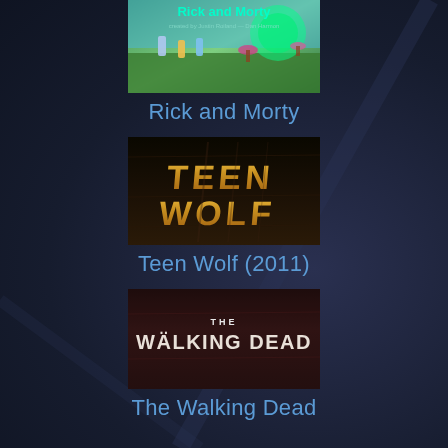[Figure (illustration): Rick and Morty animated show thumbnail with colorful cartoon characters and green alien landscape]
Rick and Morty
[Figure (illustration): Teen Wolf TV show title card with gold metallic text on dark textured background]
Teen Wolf (2011)
[Figure (illustration): The Walking Dead TV show title card with white text on dark red/brown textured background]
The Walking Dead